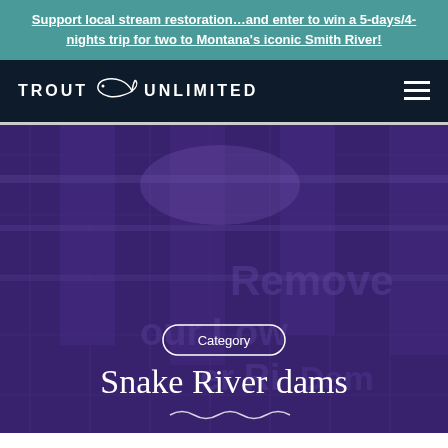Support local stream restoration…and enter to win a 5-days/4-nights trip for two to Montana's iconic Smith River!
[Figure (logo): Trout Unlimited logo with fish icon and navigation hamburger menu on dark navy background]
[Figure (photo): Hero image of a dam with purple overlay tint. Category badge reads 'Category'. Title reads 'Snake River dams' with wave decoration below.]